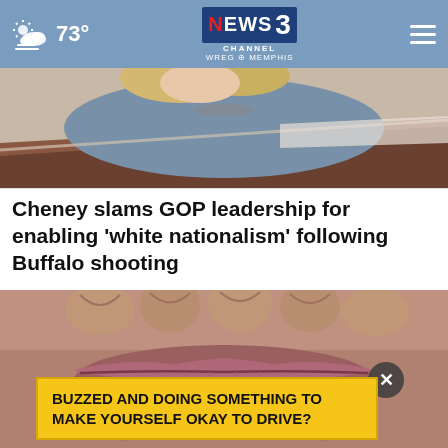73° NEWS CHANNEL 3 WREG MEMPHIS
[Figure (photo): Partial view of a woman with blonde hair and a necklace, sitting at what appears to be a table or desk, cropped to show only the upper portion.]
Cheney slams GOP leadership for enabling 'white nationalism' following Buffalo shooting
[Figure (photo): Extreme close-up photograph of an elderly person's wrinkled lips and lower face/chin area.]
BUZZED AND DOING SOMETHING TO MAKE YOURSELF OKAY TO DRIVE?